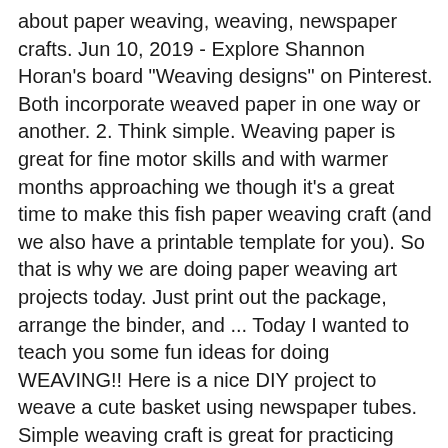about paper weaving, weaving, newspaper crafts. Jun 10, 2019 - Explore Shannon Horan's board "Weaving designs" on Pinterest. Both incorporate weaved paper in one way or another. 2. Think simple. Weaving paper is great for fine motor skills and with warmer months approaching we though it's a great time to make this fish paper weaving craft (and we also have a printable template for you). So that is why we are doing paper weaving art projects today. Just print out the package, arrange the binder, and ... Today I wanted to teach you some fun ideas for doing WEAVING!! Here is a nice DIY project to weave a cute basket using newspaper tubes. Simple weaving craft is great for practicing hand-eye coordination and fine motor skills. Here are some brilliant projects for inspiration. Here's a collection of weaving crafts for kids of all ages, providing fine motor skill practice for little ones (cutting, weaving, sticking) and opportunities for more intricate designs for older children. Weaving Ideas with paper. With the same technique you can create other super fun weaving projects for kids. Take 3 paper strips and place them side by side with the vertical strip but making sure to keep the pattern over and under with the horizontal strip. Weaving the Base Now grab the 3 other strips and weave them over